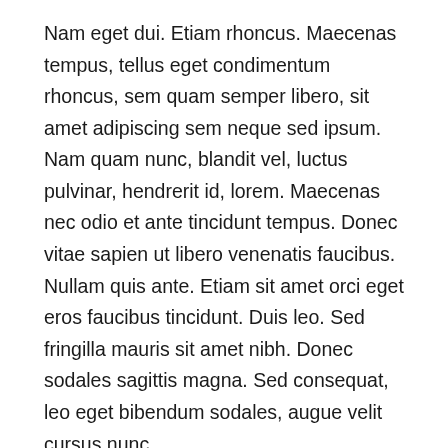Nam eget dui. Etiam rhoncus. Maecenas tempus, tellus eget condimentum rhoncus, sem quam semper libero, sit amet adipiscing sem neque sed ipsum. Nam quam nunc, blandit vel, luctus pulvinar, hendrerit id, lorem. Maecenas nec odio et ante tincidunt tempus. Donec vitae sapien ut libero venenatis faucibus. Nullam quis ante. Etiam sit amet orci eget eros faucibus tincidunt. Duis leo. Sed fringilla mauris sit amet nibh. Donec sodales sagittis magna. Sed consequat, leo eget bibendum sodales, augue velit cursus nunc.
Then they show that show to